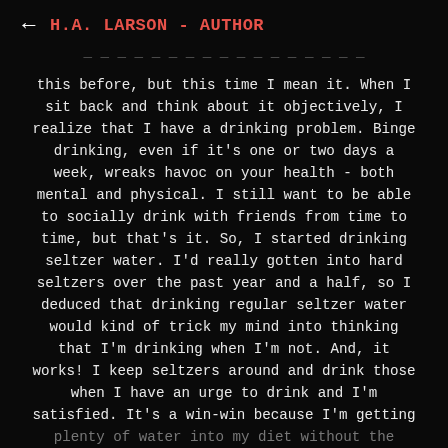← H.A. LARSON - AUTHOR
this before, but this time I mean it. When I sit back and think about it objectively, I realize that I have a drinking problem. Binge drinking, even if it's one or two days a week, wreaks havoc on your health - both mental and physical. I still want to be able to socially drink with friends from time to time, but that's it. So, I started drinking seltzer water. I'd really gotten into hard seltzers over the past year and a half, so I deduced that drinking regular seltzer water would kind of trick my mind into thinking that I'm drinking when I'm not. And, it works! I keep seltzers around and drink those when I have an urge to drink and I'm satisfied. It's a win-win because I'm getting plenty of water into my diet without the